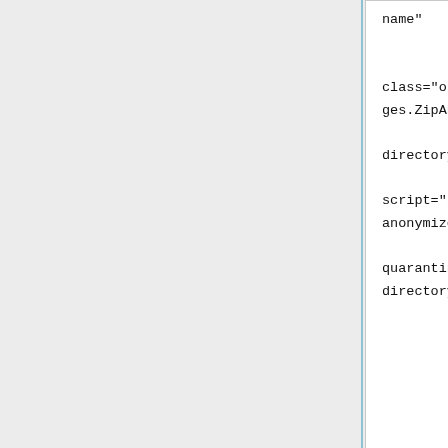[Figure (screenshot): Code block showing XML configuration with name, id, class, root, script, and quarantine attributes for ZipAnonymizer]
where:
name is any text to be used as a label on configuration and status pages.
id is any text to be used to uniquely identify the stage.
root is a directory for use by the Anonymizer for temporary storage.